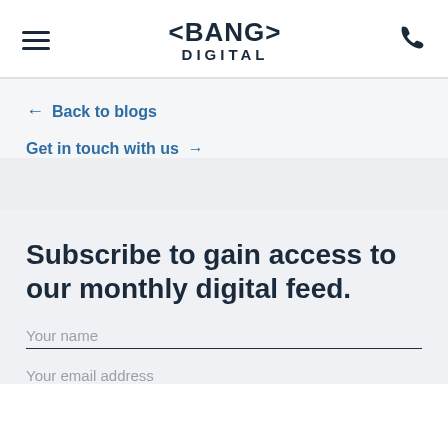< BANG > DIGITAL
← Back to blogs
Get in touch with us →
Subscribe to gain access to our monthly digital feed.
Your name
Your email address